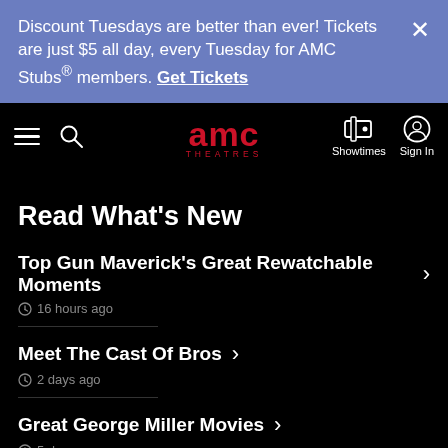Discount Tuesdays are better than ever! Tickets are just $5 all day, every Tuesday for AMC Stubs® members. Get Tickets
[Figure (logo): AMC Theatres logo with navigation icons for Showtimes and Sign In]
Read What's New
Top Gun Maverick's Great Rewatchable Moments — 16 hours ago
Meet The Cast Of Bros — 2 days ago
Great George Miller Movies — 5 days ago